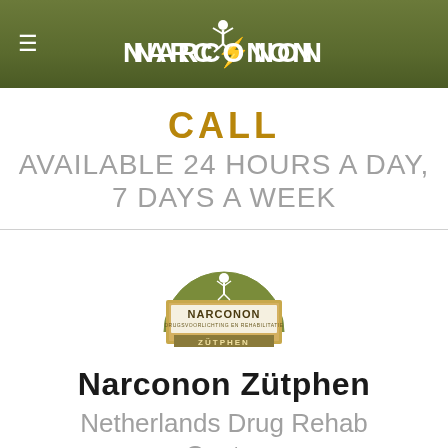[Figure (logo): Narconon logo in white on olive-green header bar with hamburger menu icon]
CALL
AVAILABLE 24 HOURS A DAY, 7 DAYS A WEEK
[Figure (logo): Narconon Zutphen circular logo badge with olive green arch and gold border]
Narconon Zütphen
Netherlands Drug Rehab Center